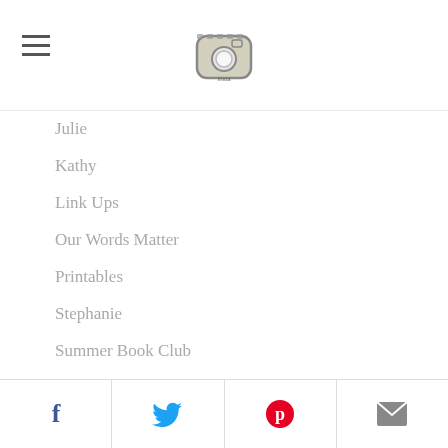[hamburger menu icon] [Instagram logo]
Julie
Kathy
Link Ups
Our Words Matter
Printables
Stephanie
Summer Book Club
Sweeter Than Honey
The Bible
Archives
September 2022
August 2022
Facebook | Twitter | Pinterest | Email